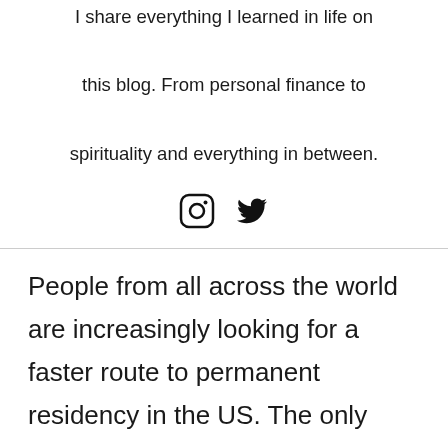I share everything I learned in life on this blog. From personal finance to spirituality and everything in between.
[Figure (other): Social media icons: Instagram and Twitter]
People from all across the world are increasingly looking for a faster route to permanent residency in the US. The only way to do so is